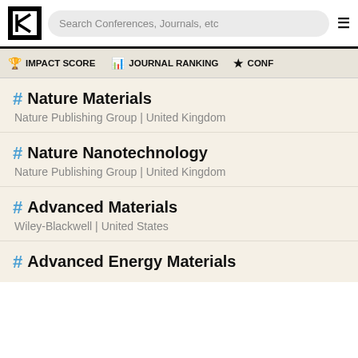[Figure (screenshot): Website header with logo, search bar, and hamburger menu]
IMPACT SCORE | JOURNAL RANKING | CONF...
# Nature Materials
Nature Publishing Group | United Kingdom
# Nature Nanotechnology
Nature Publishing Group | United Kingdom
# Advanced Materials
Wiley-Blackwell | United States
# Advanced Energy Materials